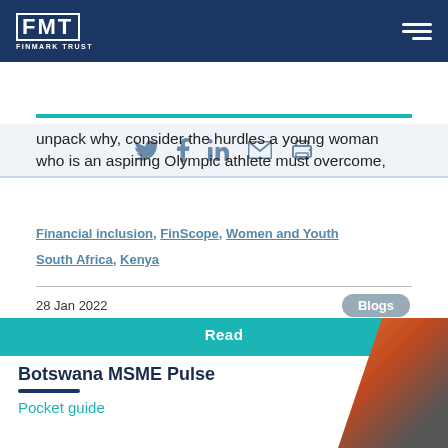FMT FINMARK TRUST
unpack why, consider the hurdles a young woman who is an aspiring Olympic athlete must overcome,
Financial inclusion, FinScope, Women and Youth
South Africa, Kenya
28 Jan 2022
Blogs
Botswana MSME Pulse
Pocket guide